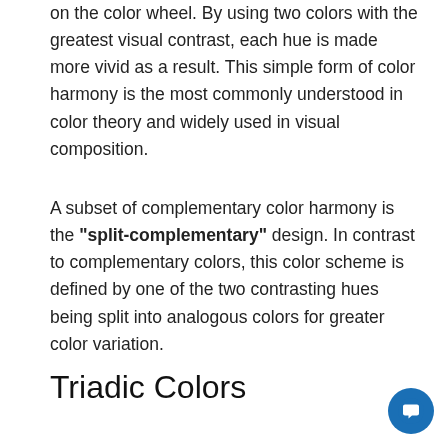on the color wheel. By using two colors with the greatest visual contrast, each hue is made more vivid as a result. This simple form of color harmony is the most commonly understood in color theory and widely used in visual composition.
A subset of complementary color harmony is the "split-complementary" design. In contrast to complementary colors, this color scheme is defined by one of the two contrasting hues being split into analogous colors for greater color variation.
Triadic Colors